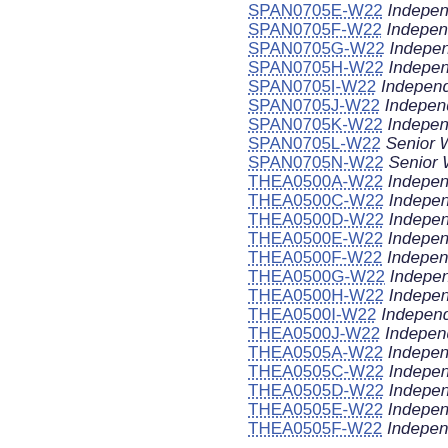SPAN0705E-W22 Independent Stu
SPAN0705F-W22 Independent Stu
SPAN0705G-W22 Independent Stu
SPAN0705H-W22 Independent Stu
SPAN0705I-W22 Independent Stud
SPAN0705J-W22 Independent Stu
SPAN0705K-W22 Independent Stu
SPAN0705L-W22 Senior Work
SPAN0705N-W22 Senior Work
THEA0500A-W22 Independent Stu
THEA0500C-W22 Independent Stu
THEA0500D-W22 Independent Stu
THEA0500E-W22 Independent Stu
THEA0500F-W22 Independent Stu
THEA0500G-W22 Independent Stu
THEA0500H-W22 Independent Stu
THEA0500I-W22 Independent Stud
THEA0500J-W22 Independent Stu
THEA0505A-W22 Independent Stu
THEA0505C-W22 Independent Stu
THEA0505D-W22 Independent Stu
THEA0505E-W22 Independent Stu
THEA0505F-W22 Independent Stu